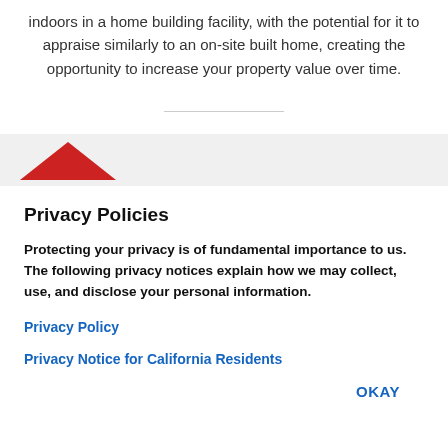indoors in a home building facility, with the potential for it to appraise similarly to an on-site built home, creating the opportunity to increase your property value over time.
[Figure (illustration): Red upward-pointing triangle/arrow icon on a light gray background band]
Privacy Policies
Protecting your privacy is of fundamental importance to us. The following privacy notices explain how we may collect, use, and disclose your personal information.
Privacy Policy
Privacy Notice for California Residents
OKAY